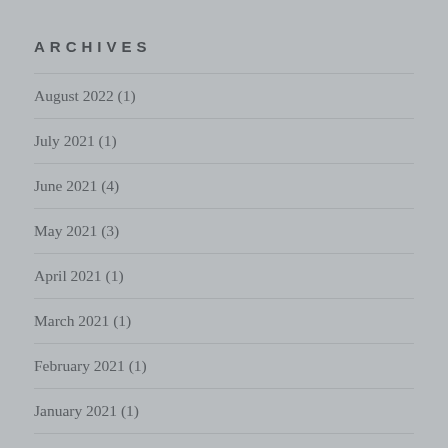ARCHIVES
August 2022 (1)
July 2021 (1)
June 2021 (4)
May 2021 (3)
April 2021 (1)
March 2021 (1)
February 2021 (1)
January 2021 (1)